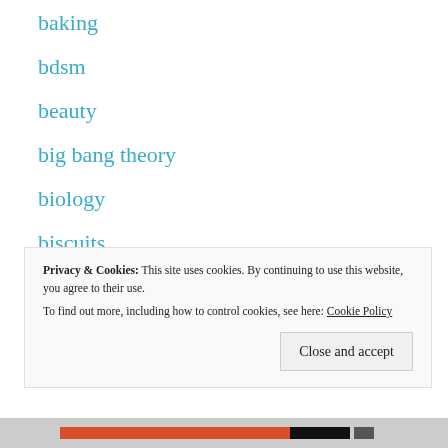baking
bdsm
beauty
big bang theory
biology
biscuits
book reviews
books
bronte
Privacy & Cookies: This site uses cookies. By continuing to use this website, you agree to their use.
To find out more, including how to control cookies, see here: Cookie Policy
Close and accept